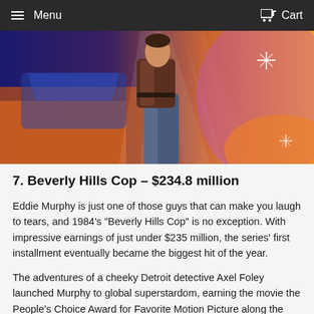Menu   Cart
[Figure (photo): Movie poster or promotional image showing a person in jeans and a jacket leaning against a car, with colorful light rays in the background (orange, purple, blue tones).]
7. Beverly Hills Cop – $234.8 million
Eddie Murphy is just one of those guys that can make you laugh to tears, and 1984's "Beverly Hills Cop" is no exception. With impressive earnings of just under $235 million, the series' first installment eventually became the biggest hit of the year.
The adventures of a cheeky Detroit detective Axel Foley launched Murphy to global superstardom, earning the movie the People's Choice Award for Favorite Motion Picture along the way. Back then, everyone wanted to be as cool as Foley, so it's no wonder that Beverly Hills Cop t-shirts were basically selling like hotcakes.